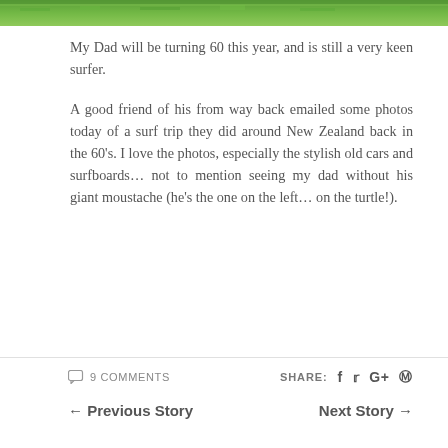[Figure (photo): Top strip showing green grass/turf photo cropped at the top of the page]
My Dad will be turning 60 this year, and is still a very keen surfer.
A good friend of his from way back emailed some photos today of a surf trip they did around New Zealand back in the 60's. I love the photos, especially the stylish old cars and surfboards... not to mention seeing my dad without his giant moustache (he's the one on the left... on the turtle!).
9 COMMENTS  SHARE: f  ✓  G+  ⊕  ← Previous Story   Next Story →